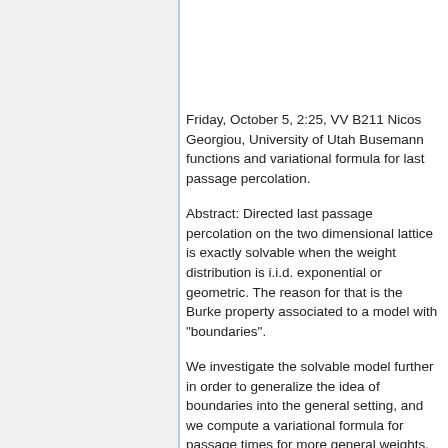Friday, October 5, 2:25, VV B211 Nicos Georgiou, University of Utah Busemann functions and variational formula for last passage percolation.
Abstract: Directed last passage percolation on the two dimensional lattice is exactly solvable when the weight distribution is i.i.d. exponential or geometric. The reason for that is the Burke property associated to a model with "boundaries".
We investigate the solvable model further in order to generalize the idea of boundaries into the general setting, and we compute a variational formula for passage times for more general weights. The variatonal formula is given in terms